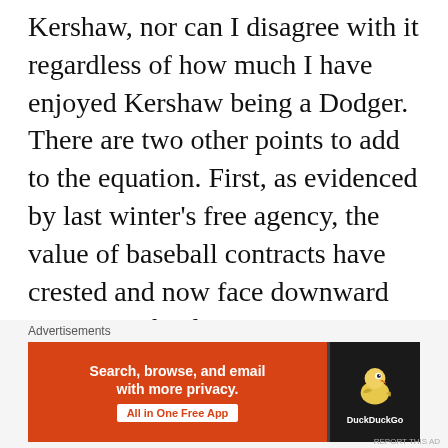Kershaw, nor can I disagree with it regardless of how much I have enjoyed Kershaw being a Dodger. There are two other points to add to the equation. First, as evidenced by last winter's free agency, the value of baseball contracts have crested and now face downward pressure. The dramatic revenue enhancement from television contracts, which allowed the owners to pay these big salaries, is set to decline.
Advertisements
[Figure (other): DuckDuckGo advertisement banner: 'Search, browse, and email with more privacy. All in One Free App' with DuckDuckGo duck logo on dark background.]